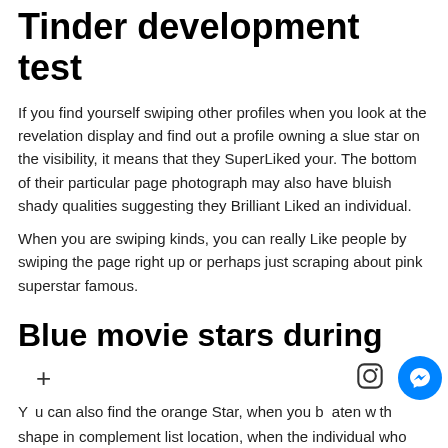Tinder development test
If you find yourself swiping other profiles when you look at the revelation display and find out a profile owning a slue star on the visibility, it means that they SuperLiked your. The bottom of their particular page photograph may also have bluish shady qualities suggesting they Brilliant Liked an individual.
When you are swiping kinds, you can really Like people by swiping the page right up or perhaps just scraping about pink superstar famous.
Blue movie stars during the Tinder Match write
You can also find the orange Star, when you beaten with shape in complement list location, when the individual who